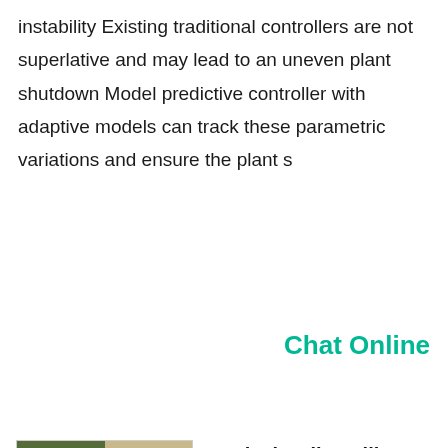instability Existing traditional controllers are not superlative and may lead to an uneven plant shutdown Model predictive controller with adaptive models can track these parametric variations and ensure the plant s
Chat Online
[Figure (photo): Composite photo showing industrial cement mill equipment including roller mill components and cylindrical filter/grinder parts]
Vertical Roller Mill In Cement IndustryGravel Mill
Vertical Roller Mill In Cement Industry Vertical roller mills especially those common for grinding of cement raw materials typically employ a hydraulic pneumatic system to apply a grinding force to the material